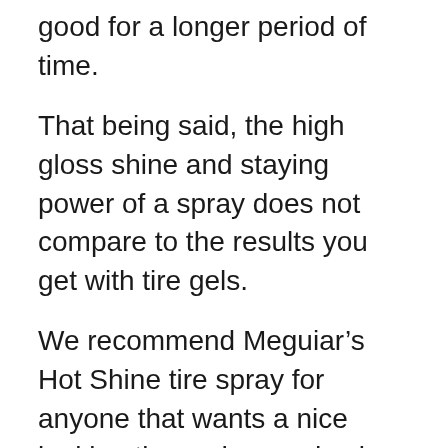good for a longer period of time.
That being said, the high gloss shine and staying power of a spray does not compare to the results you get with tire gels.
We recommend Meguiar’s Hot Shine tire spray for anyone that wants a nice looking tire and a good value. Meguiar’s advertises that just one bottle of their tire spray can treat up to 50 tires. That’s enough to last you 6 months if you use it on one set of tires every 2 weeks.
Are you a fan of Meguiar’s Hot Shine tires spray? If so leave us a comment and let us know why it’s your top pick for the best